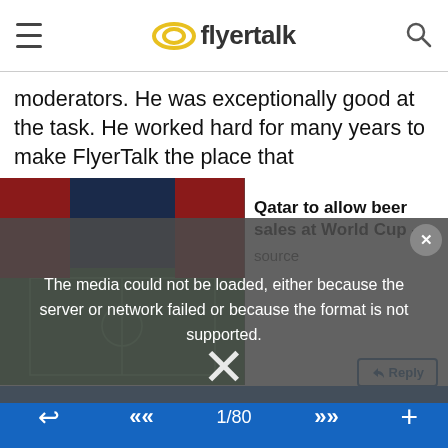flyertalk
moderators. He was exceptionally good at the task. He worked hard for many years to make FlyerTalk the place that
[Figure (screenshot): Stadium/football pitch image partially visible behind video error overlay]
The media could not be loaded, either because the server or network failed or because the format is not supported.
Qatar to allow beer sales at World Cup - source
1/80